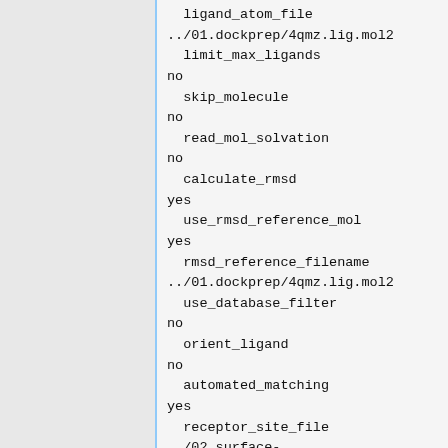ligand_atom_file
../01.dockprep/4qmz.lig.mol2
  limit_max_ligands
no
  skip_molecule
no
  read_mol_solvation
no
  calculate_rmsd
yes
  use_rmsd_reference_mol
yes
  rmsd_reference_filename
../01.dockprep/4qmz.lig.mol2
  use_database_filter
no
  orient_ligand
no
  automated_matching
yes
  receptor_site_file
../02.surface-spheres/selected_spheres.sph
  max_orientations
1000